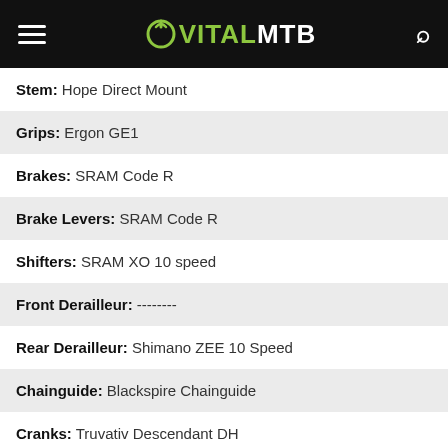VITALMTB
Stem: Hope Direct Mount
Grips: Ergon GE1
Brakes: SRAM Code R
Brake Levers: SRAM Code R
Shifters: SRAM XO 10 speed
Front Derailleur: --------
Rear Derailleur: Shimano ZEE 10 Speed
Chainguide: Blackspire Chainguide
Cranks: Truvativ Descendant DH
Chainrings / Sprocket: e*thirteen 34T
Bottom Bracket: Shimano ZEE